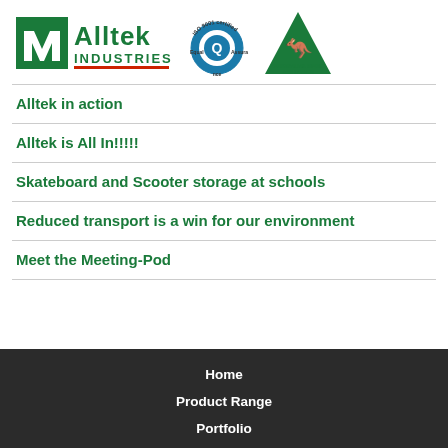[Figure (logo): Alltek Industries logo with green square icon and text, ISO 9001 certified Equal Assurance badge, and Australian Made and Owned triangle badge]
Alltek in action
Alltek is All In!!!!!
Skateboard and Scooter storage at schools
Reduced transport is a win for our environment
Meet the Meeting-Pod
Home
Product Range
Portfolio